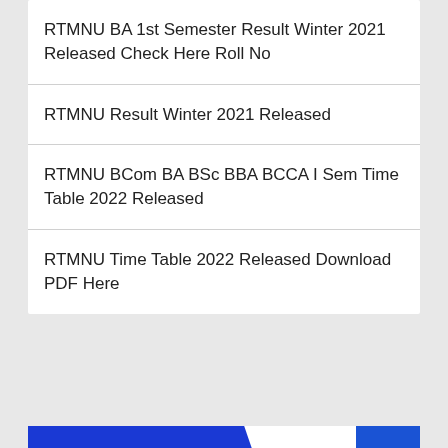RTMNU BA 1st Semester Result Winter 2021 Released Check Here Roll No
RTMNU Result Winter 2021 Released
RTMNU BCom BA BSc BBA BCCA I Sem Time Table 2022 Released
RTMNU Time Table 2022 Released Download PDF Here
YOU MISSED